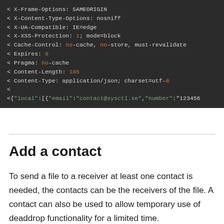[Figure (screenshot): Dark-themed terminal/code block showing HTTP response headers and a JSON body line. Headers include X-Frame-Options: SAMEORIGIN, X-Content-Type-Options: nosniff, X-UA-Compatible: IE=edge, X-XSS-Protection: 1; mode=block, Cache-Control: no-cache, no-store, must-revalidate, Expires: 0, Pragma: no-cache, Content-Length: 105, Content-Type: application/json; charset=utf-8, followed by a JSON line starting with {"local":[{"email":"contact@sysctl.se","number":"123456]
Add a contact
To send a file to a receiver at least one contact is needed, the contacts can be the receivers of the file. A contact can also be used to allow temporary use of deaddrop functionality for a limited time.